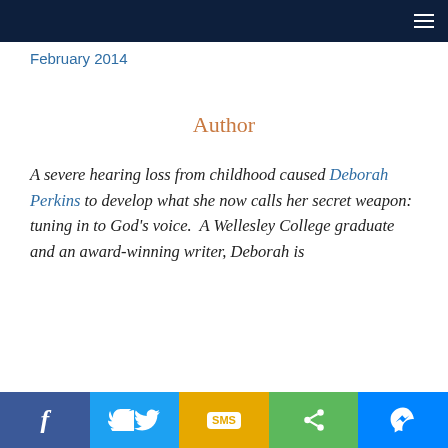February 2014
Author
A severe hearing loss from childhood caused Deborah Perkins to develop what she now calls her secret weapon: tuning in to God’s voice.  A Wellesley College graduate and an award-winning writer, Deborah is